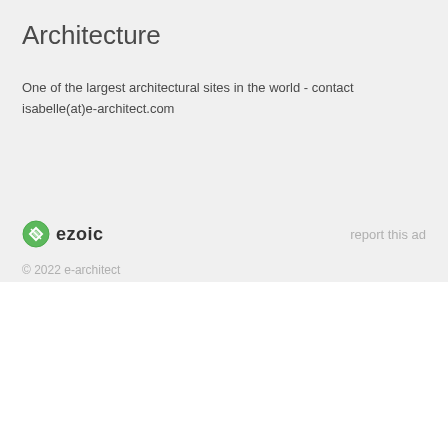Architecture
One of the largest architectural sites in the world - contact isabelle(at)e-architect.com
[Figure (logo): Ezoic logo with green circular icon and bold text 'ezoic']
report this ad
© 2022 e-architect